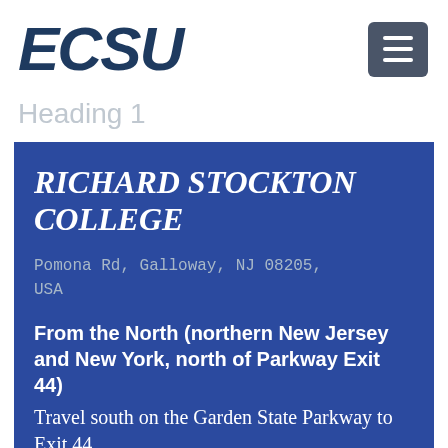ECSU
Heading 1
RICHARD STOCKTON COLLEGE
Pomona Rd, Galloway, NJ 08205, USA
From the North (northern New Jersey and New York, north of Parkway Exit 44) Travel south on the Garden State Parkway to Exit 44.